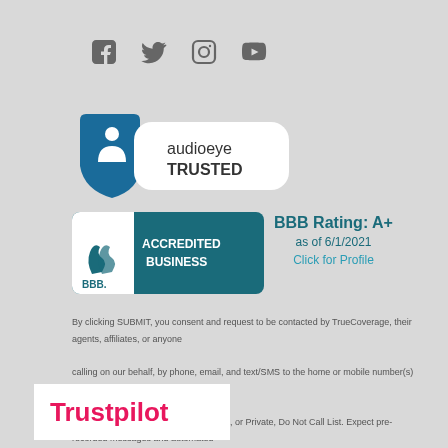[Figure (logo): Social media icons: Facebook, Twitter, Instagram, YouTube]
[Figure (logo): AudioEye Trusted badge with accessibility icon]
[Figure (logo): BBB Accredited Business badge]
BBB Rating: A+
as of 6/1/2021
Click for Profile
By clicking SUBMIT, you consent and request to be contacted by TrueCoverage, their agents, affiliates, or anyone calling on our behalf, by phone, email, and text/SMS to the home or mobile number(s) you provided, even if your provided number is on a National, State, or Private, Do Not Call List. Expect pre-recorded messages and automated technology to be used to contact you for marketing purposes. You understand that consent is not a condition of
[Figure (logo): Trustpilot logo in white box]